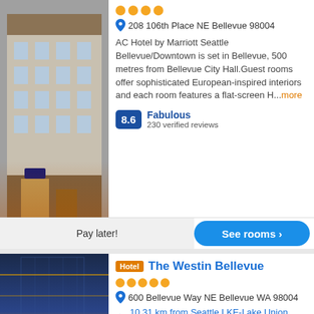[Figure (photo): Exterior photo of AC Hotel by Marriott Seattle Bellevue/Downtown building]
⬤ ⬤ ⬤ ⬤ (4 gold stars)
208 106th Place NE Bellevue 98004
AC Hotel by Marriott Seattle Bellevue/Downtown is set in Bellevue, 500 metres from Bellevue City Hall.Guest rooms offer sophisticated European-inspired interiors and each room features a flat-screen H...more
8.6 Fabulous 230 verified reviews
Pay later!
See rooms ›
[Figure (photo): Exterior photo of The Westin Bellevue hotel building at night]
Hotel The Westin Bellevue ⬤⬤⬤⬤⬤
600 Bellevue Way NE Bellevue WA 98004
10.31 km from Seattle LKE-Lake Union airport
Located in downtown Bellevue, just twenty minutes outside Seattle, The Westin Bellevue is situated minutes from major corporate offices including Microsoft, Nintendo of America, and T-Mobile. Guests...more